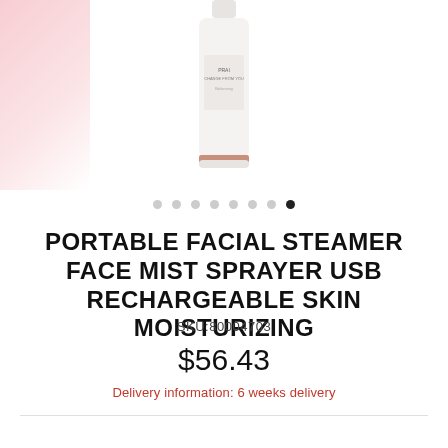[Figure (photo): White cylindrical facial steamer bottle with rose gold accent ring, partially visible pink background blob on left]
• • • • • • • •  (8 navigation dots, last one filled/active)
PORTABLE FACIAL STEAMER FACE MIST SPRAYER USB RECHARGEABLE SKIN MOISTURIZING
SKU:80004703
$56.43
Delivery information: 6 weeks delivery
White
QUANTITY